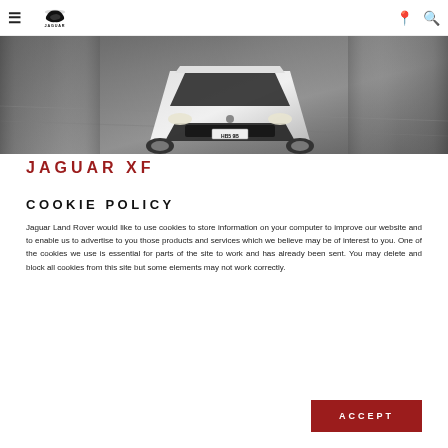Jaguar navigation bar with hamburger menu, Jaguar logo, location pin, and search icon
[Figure (photo): Hero image of a white Jaguar XF car driving on a road at speed, viewed from front-above angle. License plate reads HBS 9B.]
JAGUAR XF
COOKIE POLICY
Jaguar Land Rover would like to use cookies to store information on your computer to improve our website and to enable us to advertise to you those products and services which we believe may be of interest to you. One of the cookies we use is essential for parts of the site to work and has already been sent. You may delete and block all cookies from this site but some elements may not work correctly.
ACCEPT